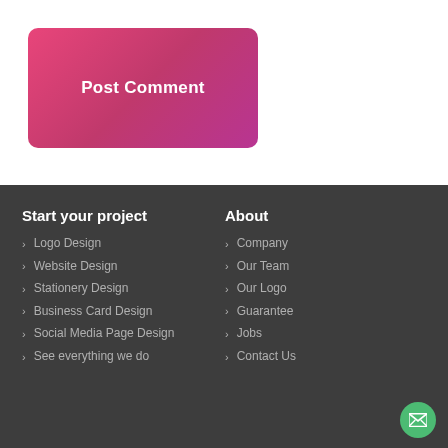Post Comment
Start your project
Logo Design
Website Design
Stationery Design
Business Card Design
Social Media Page Design
See everything we do
About
Company
Our Team
Our Logo
Guarantee
Jobs
Contact Us